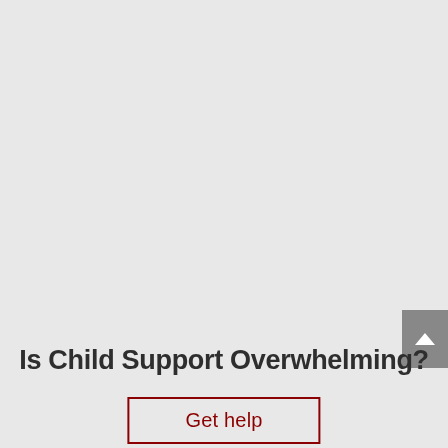[Figure (other): Scroll-to-top button with upward chevron arrow on grey background, positioned at right edge of page]
Is Child Support Overwhelming?
Get help